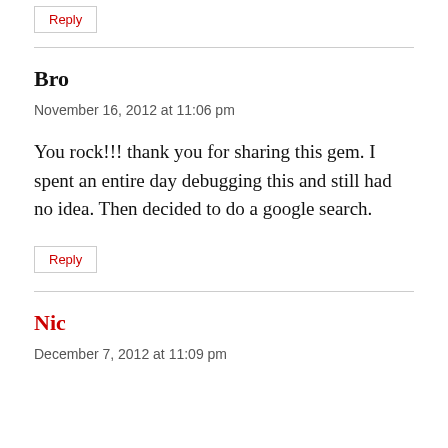Reply
Bro
November 16, 2012 at 11:06 pm
You rock!!! thank you for sharing this gem. I spent an entire day debugging this and still had no idea. Then decided to do a google search.
Reply
Nic
December 7, 2012 at 11:09 pm